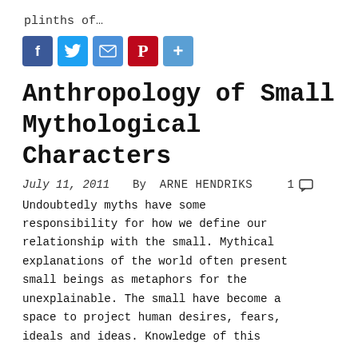plinths of…
[Figure (other): Social sharing buttons: Facebook, Twitter, Email, Pinterest, and a plus/more button]
Anthropology of Small Mythological Characters
July 11, 2011   By  ARNE HENDRIKS   1 💬
Undoubtedly myths have some responsibility for how we define our relationship with the small. Mythical explanations of the world often present small beings as metaphors for the unexplainable. The small have become a space to project human desires, fears, ideals and ideas. Knowledge of this